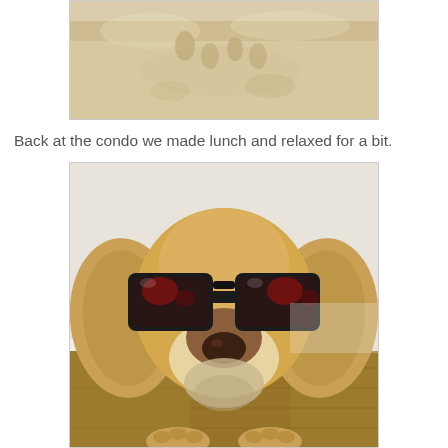[Figure (photo): A photo of sandy beach with footprints in the sand, partially visible at the top of the page.]
Back at the condo we made lunch and relaxed for a bit.
[Figure (photo): A golden cocker spaniel dog wearing large black sunglasses, looking at the camera, sitting on a wooden floor with a white baseboard visible in the background.]